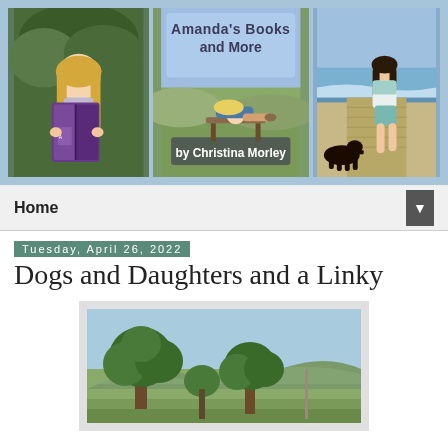[Figure (illustration): Blog header banner for 'Amanda's Books and More by Christina Morley' with three panels: left panel shows a girl reading a purple book, center panel has blog title text and a girl relaxing on a bench, right panel shows a girl walking on a beach boardwalk with a dog]
Home
Tuesday, April 26, 2022
Dogs and Daughters and a Linky
[Figure (photo): Outdoor park scene with large green trees in the foreground, grass, and mountains visible in the background under a blue sky]